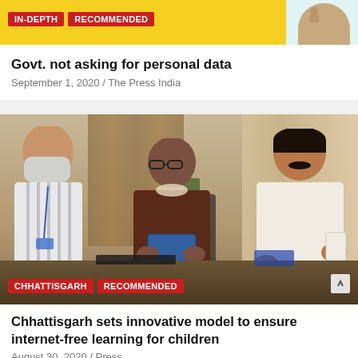[Figure (illustration): Banner with IN-DEPTH and RECOMMENDED badges on a yellow/teal background with a person figure on the right]
Govt. not asking for personal data
September 1, 2020 / The Press India
[Figure (photo): Three men in an office setting. Left man wears a mask and striped shirt. Center man in dark clothes holds a book/booklet. Right man in white kurta. Tags: CHHATTISGARH, RECOMMENDED]
Chhattisgarh sets innovative model to ensure internet-free learning for children
August 30, 2020 / Press...